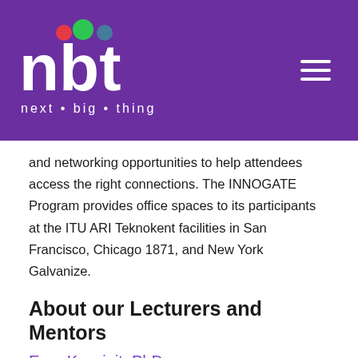nbt next • big • thing
and networking opportunities to help attendees access the right connections. The INNOGATE Program provides office spaces to its participants at the ITU ARI Teknokent facilities in San Francisco, Chicago 1871, and New York Galvanize.
About our Lecturers and Mentors
Eren Kocyigit, PhD
Marketing Professional – BA Economics, MA Finance, PhD Marketing, Founder of